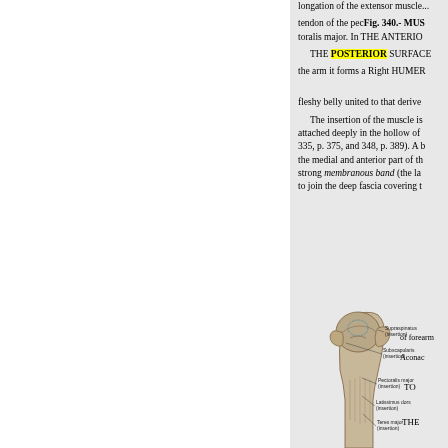longation of the extensor muscle...
tendon of the pecFig. 340.- MUS toralis major. In THE ANTERIO
THE POSTERIOR SURFACE the arm it forms a Right HUMER
fleshy belly united to that derived The insertion of the muscle is attached deeply in the hollow of 335, p. 375, and 348, p. 389). A b the medial and anterior part of th strong membranous band (the la to join the deep fascia covering t
[Figure (illustration): Anatomical illustration of the upper end of the right humerus (proximal), showing muscle insertion sites including Supraspinatus (insertion), Subscapularis (insertion), Pectoralis major (insertion), Latissimus dorsi (insertion), and Teres major (insertion). Labels point to various parts of the bone.]
of forearm Aconac TO THE